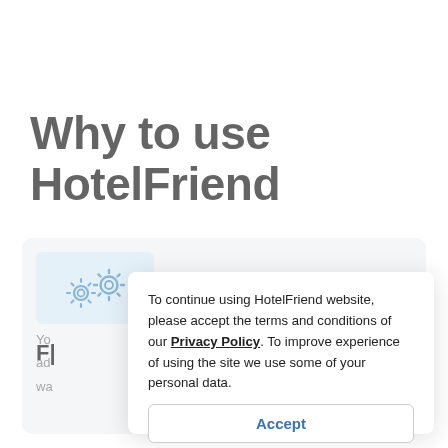Why to use HotelFriend
[Figure (screenshot): Partial card/panel visible behind modal showing gear icons on a light blue background, bold text 'F' visible, and partial body text 'Yo... ng', 'ad...', 'wa...']
To continue using HotelFriend website, please accept the terms and conditions of our Privacy Policy. To improve experience of using the site we use some of your personal data.
Accept